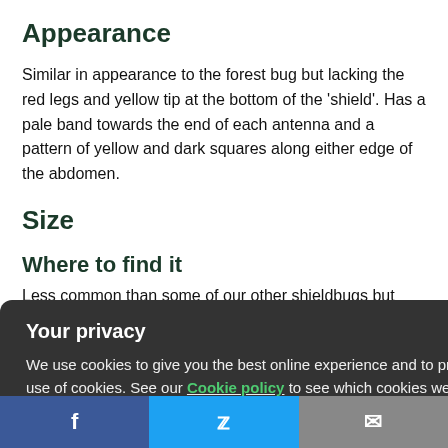Appearance
Similar in appearance to the forest bug but lacking the red legs and yellow tip at the bottom of the 'shield'. Has a pale band towards the end of each antenna and a pattern of yellow and dark squares along either edge of the abdomen.
Size
Where to find it
Less common than some of our other shieldbugs but widely spread in England, and northern Ireland. Scarce in Scotland. Lives in deciduous and coniferous woodland.
What it fee
Your privacy
We use cookies to give you the best online experience and to process your personal data. By clicking accept, you agree to our use of cookies. See our Cookie policy to see which cookies we use and how to change your settings.
[Figure (other): Cookie consent modal with Accept button over page content]